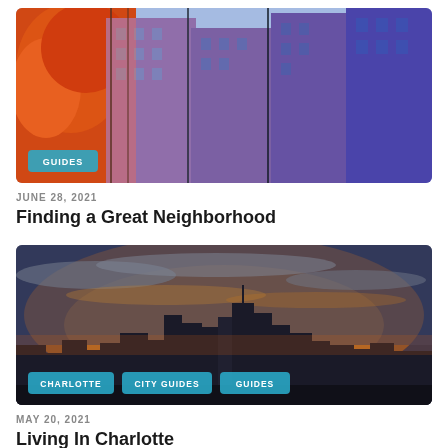[Figure (photo): Colorful photo of urban apartment buildings with fire escapes and an orange tree on the left, with a teal/purple color grade. A 'GUIDES' badge overlays the bottom left.]
JUNE 28, 2021
Finding a Great Neighborhood
[Figure (photo): City skyline at dramatic sunset with clouds, Charlotte NC. Three badges at bottom: CHARLOTTE, CITY GUIDES, GUIDES.]
MAY 20, 2021
Living In Charlotte